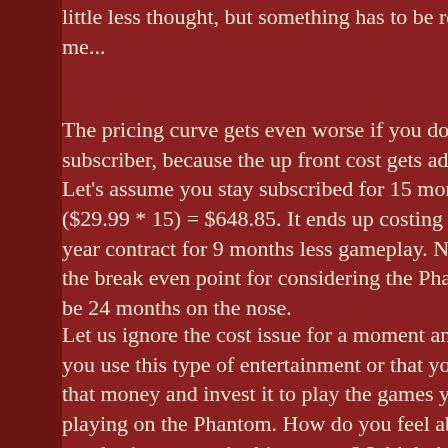little less thought, but something has to be really good for me...
The pricing curve gets even worse if you don't remain a subscriber, because the up front cost gets added back in. Let's assume you stay subscribed for 15 months. $199 + ($29.99 * 15) = $648.85. It ends up costing more than a year contract for 9 months less gameplay. Needless to say, the break even point for considering the Phantom would be 24 months on the nose.
Let us ignore the cost issue for a moment and pretend that you use this type of entertainment or that you don't take that money and invest it to play the games you would be playing on the Phantom. How do you feel about purchasing games in this manner? I think this is the point where we hit a major roadblock. People like to purchase things they can hold and see. Online music stores are doing well, but the casual music listener still goes to a store. I honestly believe casual gamers would be even less likely to purchase a game that is stored on a machine they have no access to. A m...
How many middle of the road computers built 2 years ago ru...